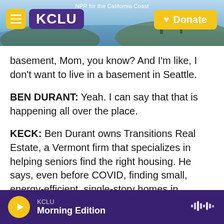[Figure (screenshot): KCLU radio station website header with logo, menu button, donate button, and coastal background photo. Text reads 'NPR for the California Coast'.]
basement, Mom, you know? And I'm like, I don't want to live in a basement in Seattle.
BEN DURANT: Yeah. I can say that that is happening all over the place.
KECK: Ben Durant owns Transitions Real Estate, a Vermont firm that specializes in helping seniors find the right housing. He says, even before COVID, finding small, energy-efficient, single-story homes in Vermont was tough because of the state's aging housing stock and strict development laws. And new homes that are being built, he says, tend to be
KCLU  Morning Edition